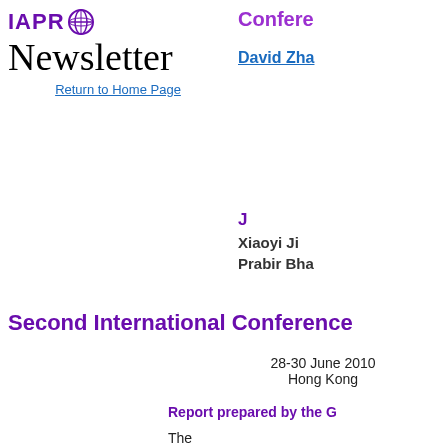[Figure (logo): IAPR globe logo with text IAPR]
Newsletter
Return to Home Page
Confere
David Zha
J
Xiaoyi Ji
Prabir Bha
Second International Conference
28-30 June 2010
Hong Kong
Report prepared by the G
The